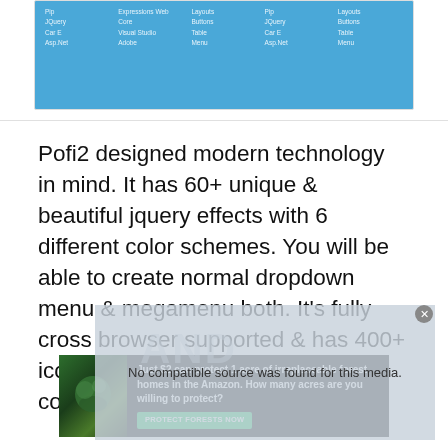[Figure (screenshot): Blue UI table/menu screenshot showing columns with items like Pip, JQuery, Car E, Asp.Net, Expressions Web, Core, Visual Studio, Adobe, Layouts, Buttons, Table, Menu]
Pofi2 designed modern technology in mind. It has 60+ unique & beautiful jquery effects with 6 different color schemes. You will be able to create normal dropdown menu & megamenu both. It’s fully cross browser supported & has 400+ icons integrated. You can add a contact form into the menu also.
[Figure (screenshot): Video overlay panel showing 'No compatible source was found for this media.' with watermark text AND]
[Figure (photo): Advertisement banner: Just $2 can protect 1 acre of irreplaceable forest homes in the Amazon. How many acres are you willing to protect? PROTECT FORESTS NOW]